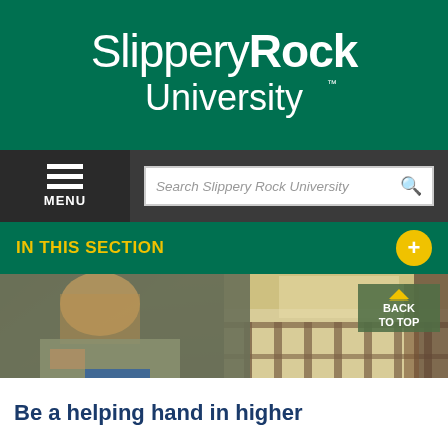[Figure (logo): Slippery Rock University logo in white text on green background]
[Figure (screenshot): Navigation bar with hamburger menu icon labeled MENU and a search box reading Search Slippery Rock University]
IN THIS SECTION
[Figure (photo): A female student sitting, smiling and reading or looking at a book, with a railing/window background]
Be a helping hand in higher